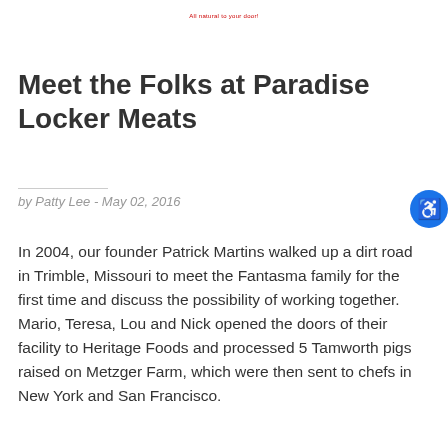All natural to your door!
Meet the Folks at Paradise Locker Meats
by Patty Lee - May 02, 2016
In 2004, our founder Patrick Martins walked up a dirt road in Trimble, Missouri to meet the Fantasma family for the first time and discuss the possibility of working together. Mario, Teresa, Lou and Nick opened the doors of their facility to Heritage Foods and processed 5 Tamworth pigs raised on Metzger Farm, which were then sent to chefs in New York and San Francisco.